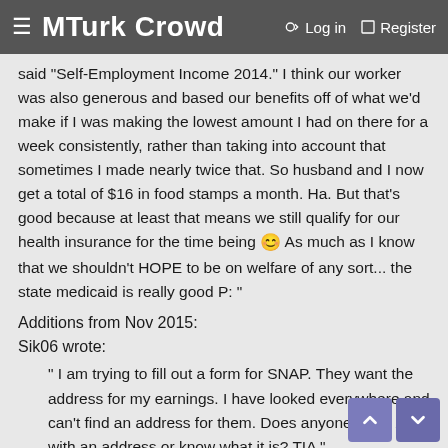≡ MTurk Crowd   🔑 Log in   🔲 Register
said "Self-Employment Income 2014." I think our worker was also generous and based our benefits off of what we'd make if I was making the lowest amount I had on there for a week consistently, rather than taking into account that sometimes I made nearly twice that. So husband and I now get a total of $16 in food stamps a month. Ha. But that's good because at least that means we still qualify for our health insurance for the time being 🙂 As much as I know that we shouldn't HOPE to be on welfare of any sort... the state medicaid is really good P: "
Additions from Nov 2015:
Sik06 wrote:
" I am trying to fill out a form for SNAP. They want the address for my earnings. I have looked everywhere and can't find an address for them. Does anyone get a 1099 with an address or know what it is? TIA "
Mainit link